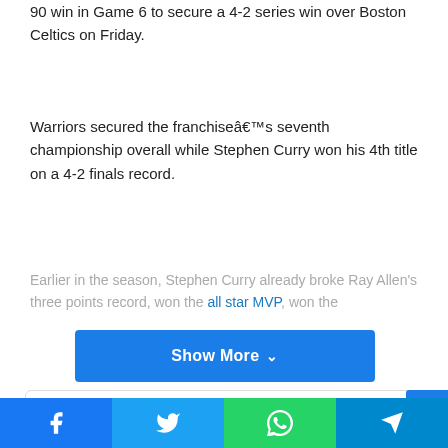90 win in Game 6 to secure a 4-2 series win over Boston Celtics on Friday.
Warriors secured the franchiseâ€™s seventh championship overall while Stephen Curry won his 4th title on a 4-2 finals record.
Earlier in the season, Stephen Curry already broke Ray Allen’s three points record, won the all star MVP, won the
[Figure (other): Show More button with chevron, social share icons (Facebook, Twitter, LinkedIn, Tumblr, Pinterest, Reddit, WhatsApp, Email, Print), scroll-to-top button, and bottom social bar (Facebook, Twitter, WhatsApp, Telegram)]